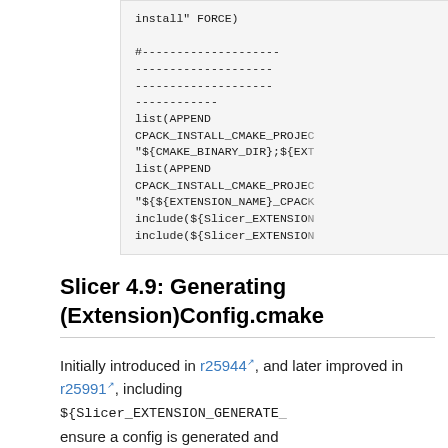[Figure (other): Code block showing CMake script content including install FORCE, dashed comment line, list(APPEND CPACK_INSTALL_CMAKE_PROJECTS ...) calls, and include(${Slicer_EXTENSION...}) calls]
Slicer 4.9: Generating (Extension)Config.cmake
Initially introduced in r25944, and later improved in r25991, including ${Slicer_EXTENSION_GENERATE... ensures a config is generated and